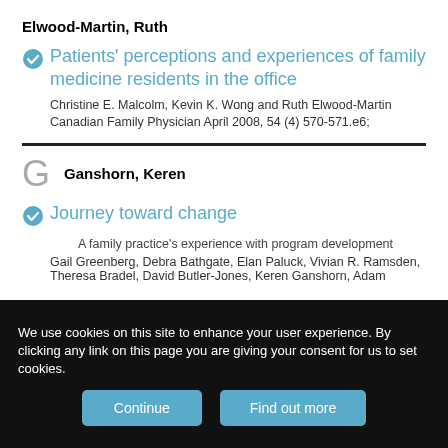Elwood-Martin, Ruth
Patients' perceptions and experiences of family medicine residents in the office
Christine E. Malcolm, Kevin K. Wong and Ruth Elwood-Martin
Canadian Family Physician April 2008, 54 (4) 570-571.e6;
G  Ganshorn, Keren
Journey toward change
A family practice's experience with program development
Gail Greenberg, Debra Bathgate, Elan Paluck, Vivian R. Ramsden, Theresa Bradel, David Butler-Jones, Keren Ganshorn, Adam
We use cookies on this site to enhance your user experience. By clicking any link on this page you are giving your consent for us to set cookies.